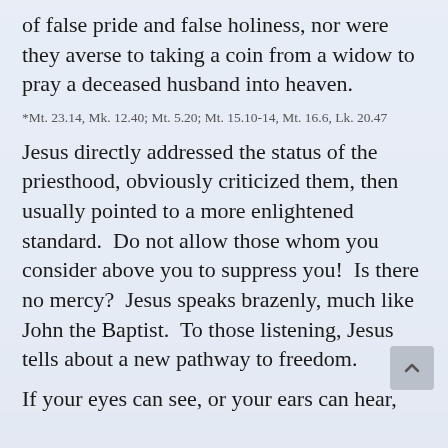of false pride and false holiness, nor were they averse to taking a coin from a widow to pray a deceased husband into heaven.
*Mt. 23.14, Mk. 12.40; Mt. 5.20; Mt. 15.10-14, Mt. 16.6, Lk. 20.47
Jesus directly addressed the status of the priesthood, obviously criticized them, then usually pointed to a more enlightened standard.  Do not allow those whom you consider above you to suppress you!  Is there no mercy?  Jesus speaks brazenly, much like John the Baptist.  To those listening, Jesus tells about a new pathway to freedom.
If your eyes can see, or your ears can hear,